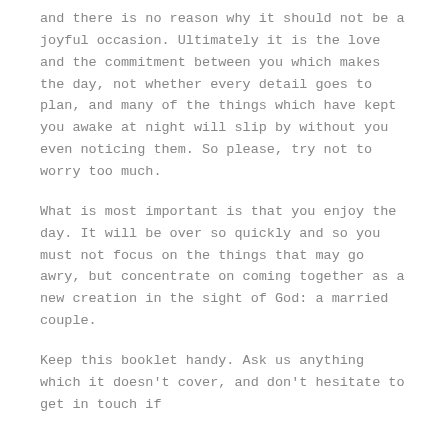and there is no reason why it should not be a joyful occasion. Ultimately it is the love and the commitment between you which makes the day, not whether every detail goes to plan, and many of the things which have kept you awake at night will slip by without you even noticing them. So please, try not to worry too much.
What is most important is that you enjoy the day. It will be over so quickly and so you must not focus on the things that may go awry, but concentrate on coming together as a new creation in the sight of God: a married couple.
Keep this booklet handy. Ask us anything which it doesn't cover, and don't hesitate to get in touch if you need help either before or after the wedding.